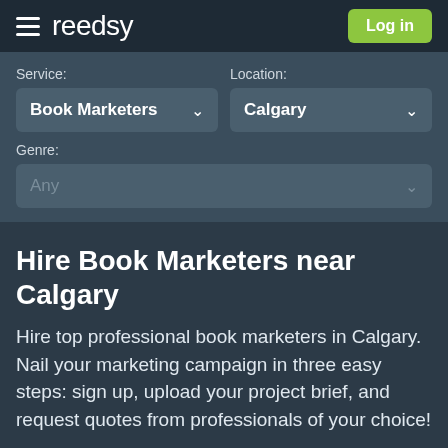reedsy — Log in
Service:
Book Marketers
Location:
Calgary
Genre:
Any
Hire Book Marketers near Calgary
Hire top professional book marketers in Calgary. Nail your marketing campaign in three easy steps: sign up, upload your project brief, and request quotes from professionals of your choice!
Sign in with Google